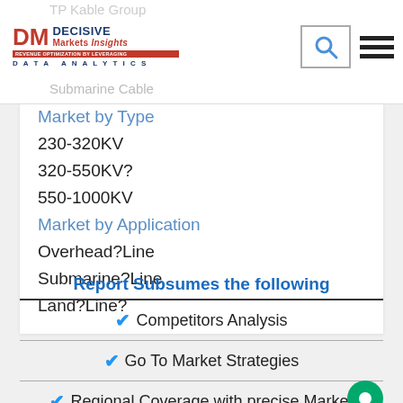TP Kable Group
[Figure (logo): Decisive Markets Insights - Data Analytics logo with red DM letters and blue text]
Submarine Cable
Market by Type
230-320KV
320-550KV?
550-1000KV
Market by Application
Overhead?Line
Submarine?Line
Land?Line?
Report Subsumes the following
✔ Competitors Analysis
✔ Go To Market Strategies
✔ Regional Coverage with precise Market